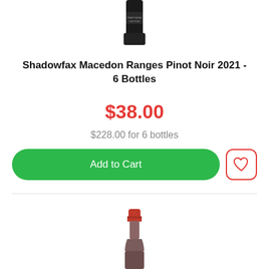[Figure (photo): Top portion of a dark/black wine bottle showing the capsule and label area, cropped at the top of the page]
Shadowfax Macedon Ranges Pinot Noir 2021 - 6 Bottles
$38.00
$228.00 for 6 bottles
Add to Cart
[Figure (photo): Top portion of a red wine bottle showing a red foil capsule, cropped at the bottom of the page]